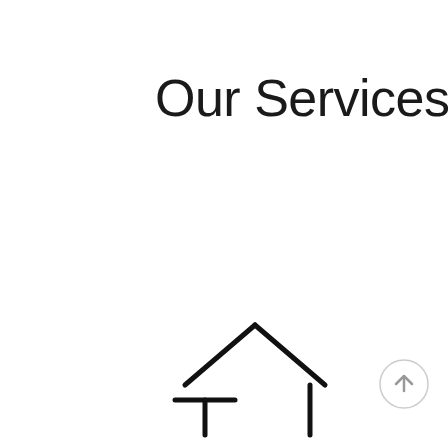Our Services
[Figure (illustration): A minimalist line-art house icon outline showing a roof (two angled lines meeting at a peak) and two vertical pillars beneath, resembling a house or real estate symbol. Drawn with thick black strokes on white background.]